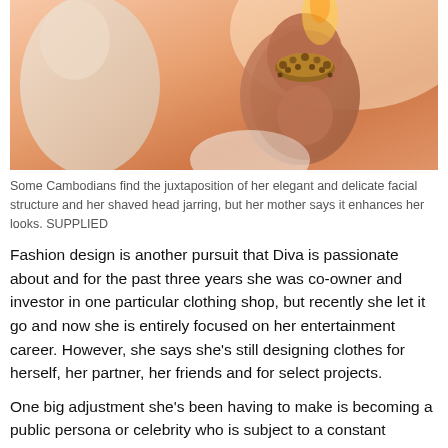[Figure (photo): Close-up photo of a person with a shaved head wearing an ornate beaded headpiece, set against a warm peach/orange background. Another figure in white is visible to the left.]
Some Cambodians find the juxtaposition of her elegant and delicate facial structure and her shaved head jarring, but her mother says it enhances her looks. SUPPLIED
Fashion design is another pursuit that Diva is passionate about and for the past three years she was co-owner and investor in one particular clothing shop, but recently she let it go and now she is entirely focused on her entertainment career. However, she says she’s still designing clothes for herself, her partner, her friends and for select projects.
One big adjustment she’s been having to make is becoming a public persona or celebrity who is subject to a constant barrage of other people’s opinions of her and everything she does. Some of them are very supportive and positive and uplifting, but there are just as many that are negative and even downright cruel and it takes developing a thick skin to ignore